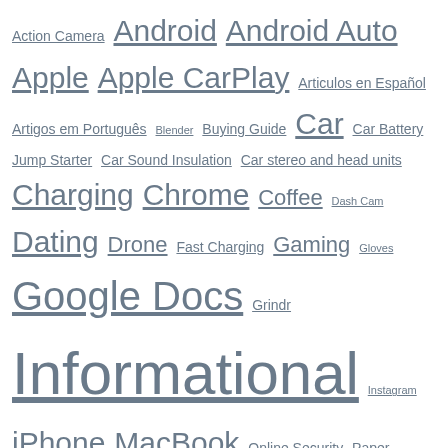Action Camera Android Android Auto Apple Apple CarPlay Articulos en Español Artigos em Português Blender Buying Guide Car Car Battery Jump Starter Car Sound Insulation Car stereo and head units Charging Chrome Coffee Dash Cam Dating Drone Fast Charging Gaming Gloves Google Docs Grindr Informational Instagram iPhone MacBook Online Security Paper Shredder Powerbank Power Strip Product Reviews Quickcharge SD Card Smartphone Surge Protector Tesla Tinder Toaster Travel Mug Travel Trailers (RVs) Whatsapp Windows YouTube